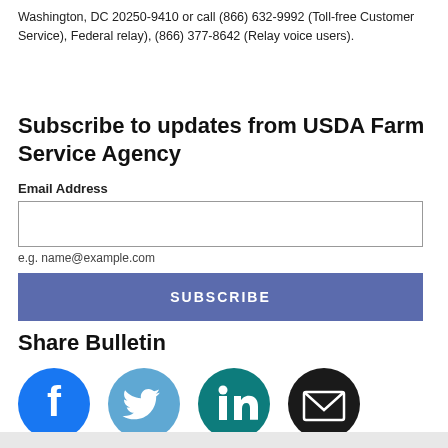Washington, DC 20250-9410 or call (866) 632-9992 (Toll-free Customer Service), Federal relay), (866) 377-8642 (Relay voice users).
Subscribe to updates from USDA Farm Service Agency
Email Address
e.g. name@example.com
SUBSCRIBE
Share Bulletin
[Figure (infographic): Row of four social media icon circles: Facebook (blue), Twitter (light blue), LinkedIn (teal), Email (black)]